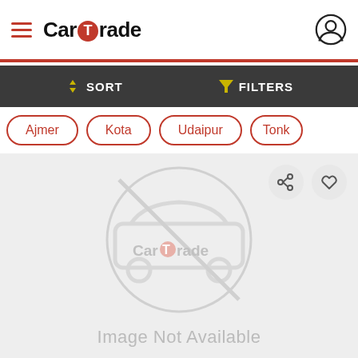CarTrade
SORT
FILTERS
Ajmer
Kota
Udaipur
Tonk
[Figure (screenshot): CarTrade watermark placeholder image — car icon crossed out with 'CarTrade' logo overlay and 'Image Not Available' text below]
Image Not Available